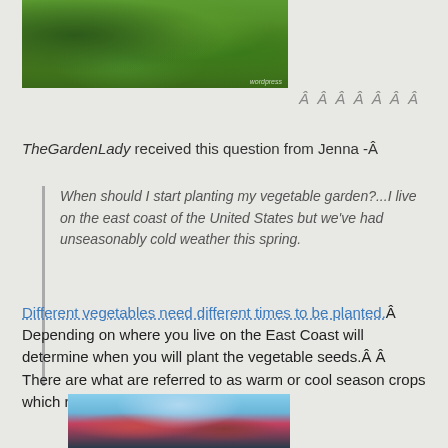[Figure (photo): Photo of green leafy vegetable garden plants, top portion visible]
Â Â Â Â Â Â Â
TheGardenLady received this question from Jenna -Â
When should I start planting my vegetable garden?...I live on the east coast of the United States but we've had unseasonably cold weather this spring.
Different vegetables need different times to be planted.Â  Depending on where you live on the East Coast will determine when you will plant the vegetable seeds.Â Â  There are what are referred to as warm or cool season crops which refer to the necessary
[Figure (photo): Photo showing flowers and blue sky, bottom portion visible]